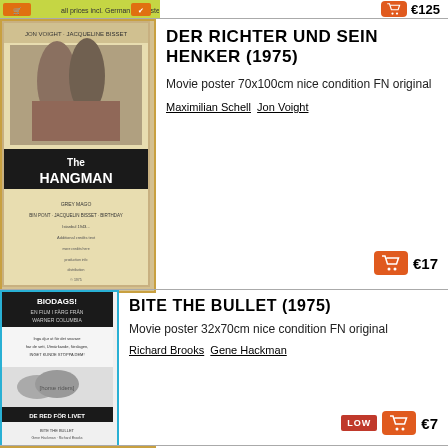[Figure (photo): Top partial listing - green banner image with price €125 and cart button]
[Figure (photo): Movie poster for Der Richter und sein Henker (1975) - The Hangman, showing Jon Voight and Jacqueline Bisset]
DER RICHTER UND SEIN HENKER (1975)
Movie poster 70x100cm nice condition FN original
Maximilian Schell  Jon Voight
€17
[Figure (photo): Movie poster for Bite the Bullet (1975) - Swedish release BIODAGS!, black and white poster]
BITE THE BULLET (1975)
Movie poster 32x70cm nice condition FN original
Richard Brooks  Gene Hackman
LOW  €7
LEJONET OCH